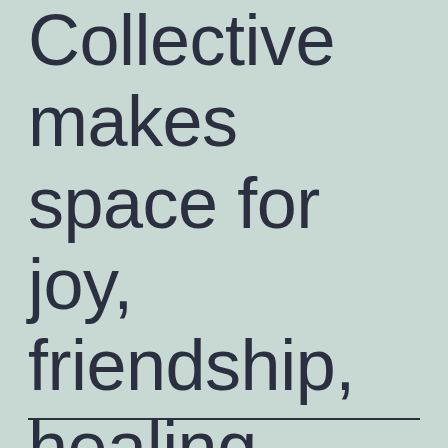Collective makes space for joy, friendship, healing
———————————————